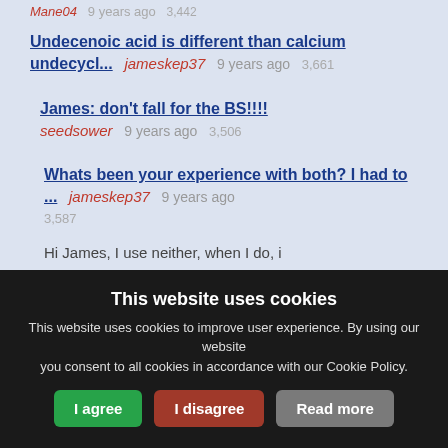Mane04  9 years ago  3,442
Undecenoic acid is different than calcium undecycl...  jameskep37  9 years ago  3,661
James: don't fall for the BS!!!!  seedsower  9 years ago  3,506
Whats been your experience with both? I had to ...  jameskep37  9 years ago  3,587
Hi James, I use neither, when I do, i
This website uses cookies
This website uses cookies to improve user experience. By using our website you consent to all cookies in accordance with our Cookie Policy.
I agree | I disagree | Read more